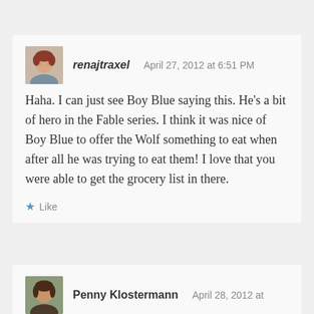renajtraxel   April 27, 2012 at 6:51 PM
Haha. I can just see Boy Blue saying this. He’s a bit of hero in the Fable series. I think it was nice of Boy Blue to offer the Wolf something to eat when after all he was trying to eat them! I love that you were able to get the grocery list in there.
★ Like
Penny Klostermann   April 28, 2012 at 8:21 PM